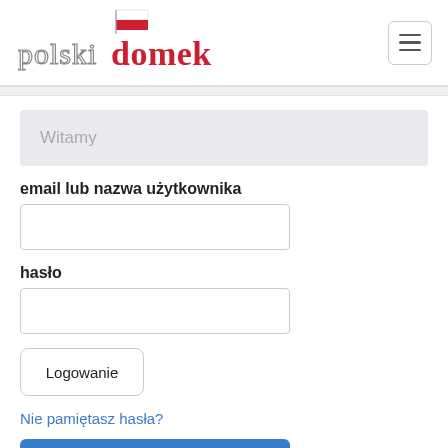[Figure (logo): Polski Domek logo with Polish flag on top and stylized text 'polski' in grey outline and 'domek' in red]
[Figure (other): Hamburger menu button (three horizontal lines in a rounded square border)]
Witamy
email lub nazwa użytkownika
hasło
Logowanie
Nie pamiętasz hasła?
Załóż Konto